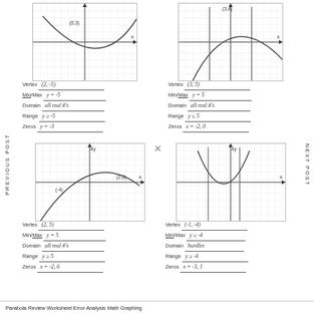[Figure (continuous-plot): Graph of upward-opening parabola with vertex near (2,-5). Label (0,3) on y-axis area.]
Vertex  (2, -5)
Min/Max  y = -5
Domain  all real #'s
Range  y ≥ -5
Zeros  y = -3
[Figure (continuous-plot): Graph of downward-opening parabola with vertex near (3,5). Label (3,4) at top.]
Vertex  (3, 5)
Min/Max  y = 5
Domain  all real #'s
Range  y ≤ 5
Zeros  x = -2, 0
[Figure (continuous-plot): Graph of downward-opening parabola with vertex near (2,5). Label (-4) on left side.]
Vertex  (2, 5)
Min/Max  y = 5
Domain  all real #'s
Range  y ≥ 5
Zeros  x = -2, 6
[Figure (continuous-plot): Graph of upward-opening parabola with vertex near (-1,-4). Two vertical lines visible. Label (4y) at top.]
Vertex  (-1, -4)
Min/Max  y ≥ -4
Domain  hurdles
Range  y ≥ -4
Zeros  x = -3, 1
Parabola Review Worksheet Error Analysis Math Graphing